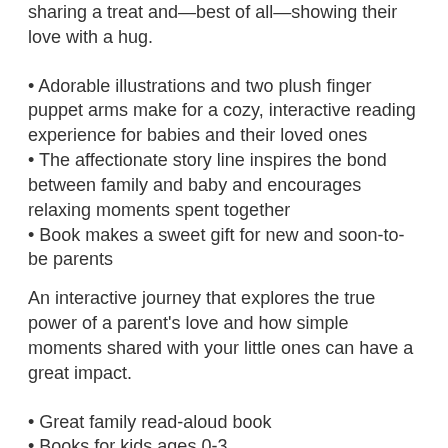sharing a treat and—best of all—showing their love with a hug.
Adorable illustrations and two plush finger puppet arms make for a cozy, interactive reading experience for babies and their loved ones
The affectionate story line inspires the bond between family and baby and encourages relaxing moments spent together
Book makes a sweet gift for new and soon-to-be parents
An interactive journey that explores the true power of a parent's love and how simple moments shared with your little ones can have a great impact.
Great family read-aloud book
Books for kids ages 0-3
Books for preschool and up